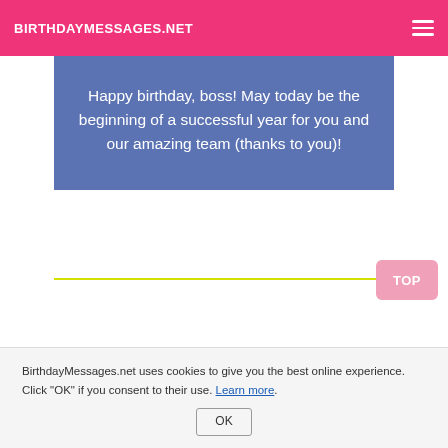BIRTHDAYMESSAGES.NET
Happy birthday, boss! May today be the beginning of a successful year for you and our amazing team (thanks to you)!
BirthdayMessages.net uses cookies to give you the best online experience. Click "OK" if you consent to their use. Learn more.